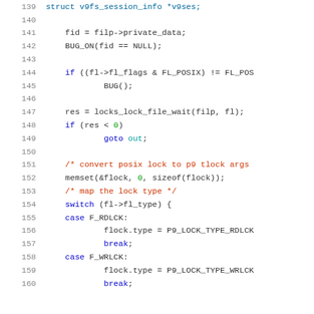Source code listing, lines 139-160, C kernel code for v9fs file locking
139: struct v9fs_session_info *v9ses;
140: (empty)
141:     fid = filp->private_data;
142:     BUG_ON(fid == NULL);
143: (empty)
144:     if ((fl->fl_flags & FL_POSIX) != FL_POS
145:             BUG();
146: (empty)
147:     res = locks_lock_file_wait(filp, fl);
148:     if (res < 0)
149:             goto out;
150: (empty)
151:     /* convert posix lock to p9 tlock args
152:     memset(&flock, 0, sizeof(flock));
153:     /* map the lock type */
154:     switch (fl->fl_type) {
155:     case F_RDLCK:
156:             flock.type = P9_LOCK_TYPE_RDLCK
157:             break;
158:     case F_WRLCK:
159:             flock.type = P9_LOCK_TYPE_WRLCK
160:             break;